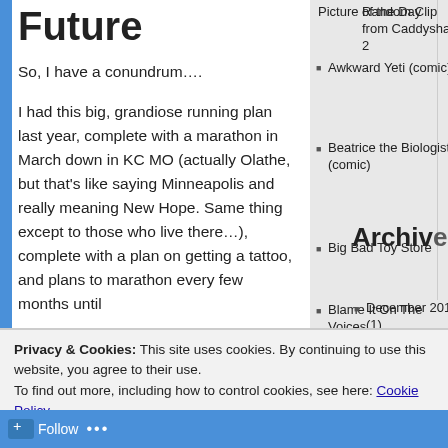Future
So, I have a conundrum….
I had this big, grandiose running plan last year, complete with a marathon in March down in KC MO (actually Olathe, but that's like saying Minneapolis and really meaning New Hope. Same thing except to those who live there…), complete with a plan on getting a tattoo, and plans to marathon every few months until
Picture of the Day
Awkward Yeti (comic)
Beatrice the Biologist (comic)
Big Bad Toy Store
Blame It On The Voices
BoingBoing
Business Cat (comic)
Archive
Random Clip from Caddyshack 2
December 2014 (1)
November 2014 (1)
July 2014 (1)
June 2014 (3)
Privacy & Cookies: This site uses cookies. By continuing to use this website, you agree to their use.
To find out more, including how to control cookies, see here: Cookie Policy
Close and accept